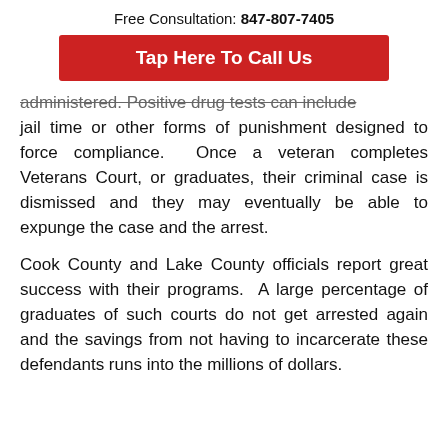Free Consultation: 847-807-7405
Tap Here To Call Us
administered.  Positive drug tests can include jail time or other forms of punishment designed to force compliance.  Once a veteran completes Veterans Court, or graduates, their criminal case is dismissed and they may eventually be able to expunge the case and the arrest.
Cook County and Lake County officials report great success with their programs.  A large percentage of graduates of such courts do not get arrested again and the savings from not having to incarcerate these defendants runs into the millions of dollars.